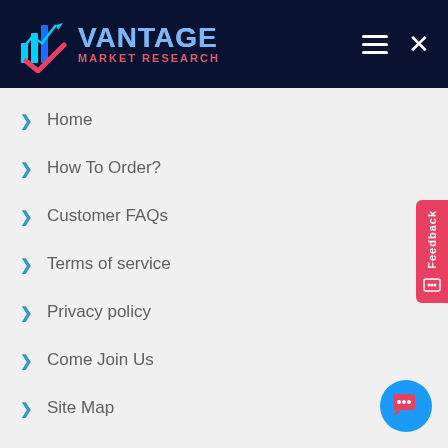[Figure (logo): Vantage Market Research logo in dark navy header with bar chart and checkmark icon, white hamburger menu icon and X close icon]
Home
How To Order?
Customer FAQs
Terms of service
Privacy policy
Come Join Us
Site Map